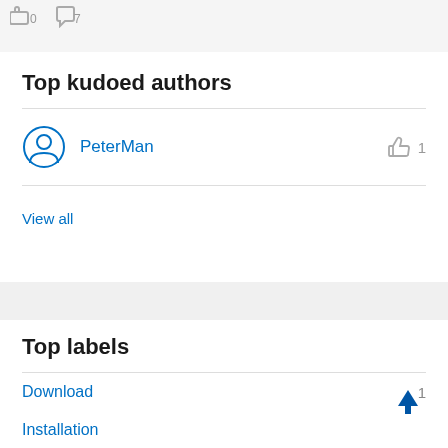Top kudoed authors
PeterMan  1
View all
Top labels
Download  1
Installation
Intel Atom® Processors